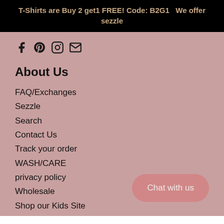T-Shirts are Buy 2 get1 FREE! Code: B2G1   We offer sezzle
[Figure (other): Social media icons: Facebook, Pinterest, Instagram, Email]
About Us
FAQ/Exchanges
Sezzle
Search
Contact Us
Track your order
WASH/CARE
privacy policy
Wholesale
Shop our Kids Site
Visit our Storefront
601 HWY 71 North
Chat with us